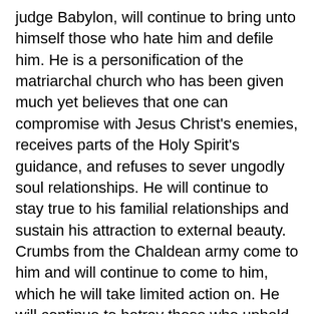judge Babylon, will continue to bring unto himself those who hate him and defile him. He is a personification of the matriarchal church who has been given much yet believes that one can compromise with Jesus Christ's enemies, receives parts of the Holy Spirit's guidance, and refuses to sever ungodly soul relationships. He will continue to stay true to his familial relationships and sustain his attraction to external beauty. Crumbs from the Chaldean army come to him and will continue to come to him, which he will take limited action on. He will continue to betray those who upheld him most.
Simultaneously, as he becomes aware of his natural enemies, he continues to chip away at them. He has been given much and he has been